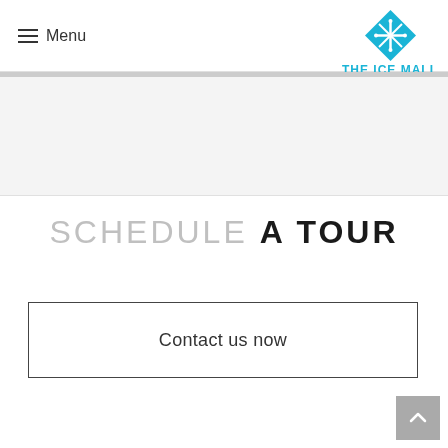Menu — The Ice Mall, Pakistan's 1st Ice Mall
SCHEDULE A TOUR
Contact us now